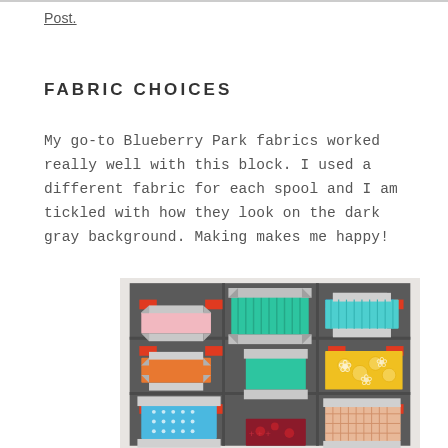Post.
FABRIC CHOICES
My go-to Blueberry Park fabrics worked really well with this block. I used a different fabric for each spool and I am tickled with how they look on the dark gray background. Making makes me happy!
[Figure (photo): Quilt block photo showing multiple spool blocks made with colorful Blueberry Park fabrics on a dark gray background. Spools in pink, teal/green, blue, turquoise, orange, yellow floral, aqua, and peach/coral on dark charcoal gray with red accent squares.]